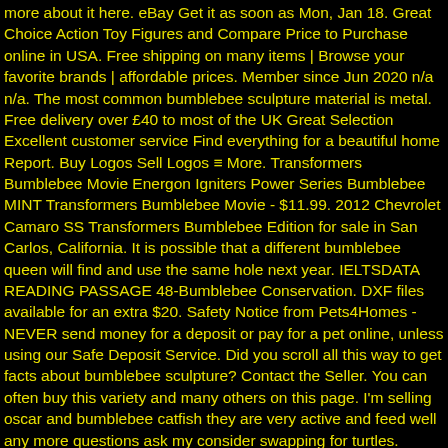more about it here. eBay Get it as soon as Mon, Jan 18. Great Choice Action Toy Figures and Compare Price to Purchase online in USA. Free shipping on many items | Browse your favorite brands | affordable prices. Member since Jun 2020 n/a n/a. The most common bumblebee sculpture material is metal. Free delivery over £40 to most of the UK Great Selection Excellent customer service Find everything for a beautiful home Report. Buy Logos Sell Logos ≡ More. Transformers Bumblebee Movie Energon Igniters Power Series Bumblebee MINT Transformers Bumblebee Movie - $11.99. 2012 Chevrolet Camaro SS Transformers Bumblebee Edition for sale in San Carlos, California. It is possible that a different bumblebee queen will find and use the same hole next year. IELTSDATA READING PASSAGE 48-Bumblebee Conservation. DXF files available for an extra $20. Safety Notice from Pets4Homes - NEVER send money for a deposit or pay for a pet online, unless using our Safe Deposit Service. Did you scroll all this way to get facts about bumblebee sculpture? Contact the Seller. You can often buy this variety and many others on this page. I'm selling oscar and bumblebee catfish they are very active and feed well any more questions ask my consider swapping for turtles. Death Vader attacking the glass, releases air bubbles from gills. Click here for the complete details about shopping here. Oscar-Kandidatin für "Transformers"-Spin-off "Bumblebee"? All these things however is exactly what a Bumblebee replica car should have. Visit our online store and shop from a huge a selection of African Cichlids. The